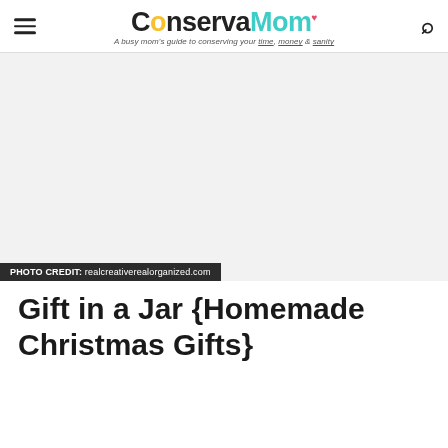ConservaMom — A busy mom's guide to conserving your time, money & sanity
[Figure (photo): Large white/blank image area representing a photo placeholder for a Gift in a Jar article]
PHOTO CREDIT: realcreativerealorganized.com
Gift in a Jar {Homemade Christmas Gifts}